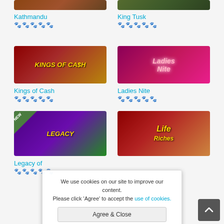[Figure (screenshot): Kathmandu game thumbnail - partial view at top]
Kathmandu
[Figure (infographic): 5-paw rating: 3 filled, 2 empty for Kathmandu]
[Figure (screenshot): King Tusk game thumbnail - partial view at top]
King Tusk
[Figure (infographic): 5-paw rating: 3 filled, 2 empty for King Tusk]
[Figure (screenshot): Kings of Cash slot game thumbnail]
Kings of Cash
[Figure (infographic): 5-paw rating: 3 filled, 2 empty for Kings of Cash]
[Figure (screenshot): Ladies Nite slot game thumbnail - pink/magenta background]
Ladies Nite
[Figure (infographic): 5-paw rating: 4 filled, 1 empty for Ladies Nite]
[Figure (screenshot): Legacy of slot game thumbnail - purple/green with NEW badge]
Legacy of
[Figure (infographic): 5-paw rating: 3 filled, 2 empty for Legacy]
[Figure (screenshot): Life Riches slot game thumbnail - red/gold]
We use cookies on our site to improve our content. Please click 'Agree' to accept the use of cookies.
Agree & Close